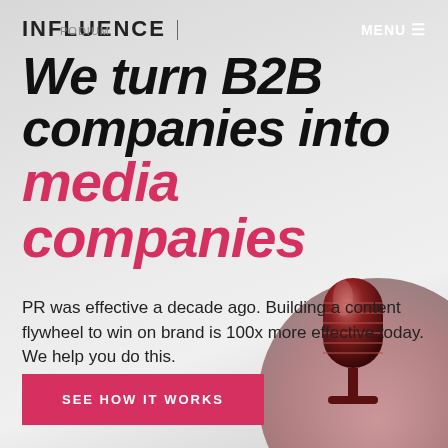INFLUENCE | podium   MENU ☰
We turn B2B companies into media companies
PR was effective a decade ago. Building a content flywheel to win on brand is 100x more effective today. We help you do this.
[Figure (photo): Red-lit vintage microphone on a dark background, visible from roughly the middle upward]
SEE HOW IT WORKS